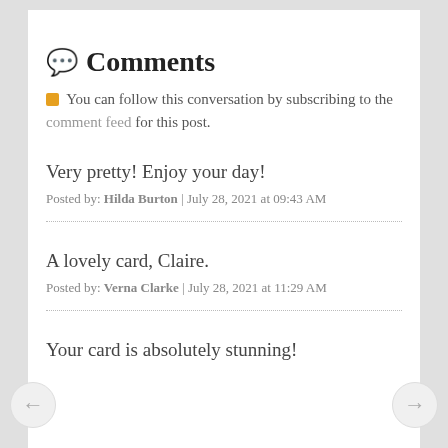💬 Comments
You can follow this conversation by subscribing to the comment feed for this post.
Very pretty! Enjoy your day!
Posted by: Hilda Burton | July 28, 2021 at 09:43 AM
A lovely card, Claire.
Posted by: Verna Clarke | July 28, 2021 at 11:29 AM
Your card is absolutely stunning!